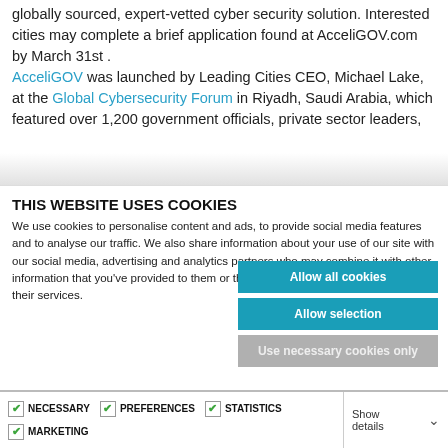globally sourced, expert-vetted cyber security solution. Interested cities may complete a brief application found at AcceliGOV.com by March 31st . AcceliGOV was launched by Leading Cities CEO, Michael Lake, at the Global Cybersecurity Forum in Riyadh, Saudi Arabia, which featured over 1,200 government officials, private sector leaders, international entrepreneurs, and thought...
THIS WEBSITE USES COOKIES
We use cookies to personalise content and ads, to provide social media features and to analyse our traffic. We also share information about your use of our site with our social media, advertising and analytics partners who may combine it with other information that you've provided to them or that they've collected from your use of their services.
Allow all cookies
Allow selection
Use necessary cookies only
NECESSARY  PREFERENCES  STATISTICS  MARKETING  Show details